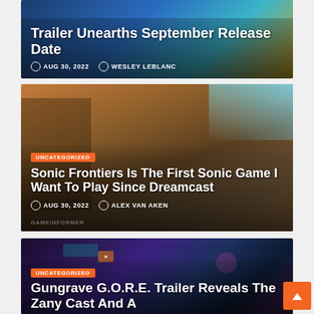[Figure (screenshot): Article card with colorful background (blue/teal/yellow), partially cut off at top. Shows title about a trailer and September release date with date Aug 30, 2022 and author Wesley LeBlanc.]
Trailer Unearths September Release Date
AUG 30, 2022 · WESLEY LEBLANC
[Figure (screenshot): Article card with desert canyon background showing Sonic the Hedgehog character. Tag: UNCATEGORIZED. Title: Sonic Frontiers Is The First Sonic Game I Want To Play Since Dreamcast. Date Aug 30, 2022. Author Alex Van Aken. GameInformer watermark.]
Sonic Frontiers Is The First Sonic Game I Want To Play Since Dreamcast
AUG 30, 2022 · ALEX VAN AKEN
[Figure (screenshot): Article card with dark cyberpunk/neon background. Tag: UNCATEGORIZED. Title beginning: Gungrave G.O.R.E. Trailer Reveals The Zany Cast And A]
Gungrave G.O.R.E. Trailer Reveals The Zany Cast And A